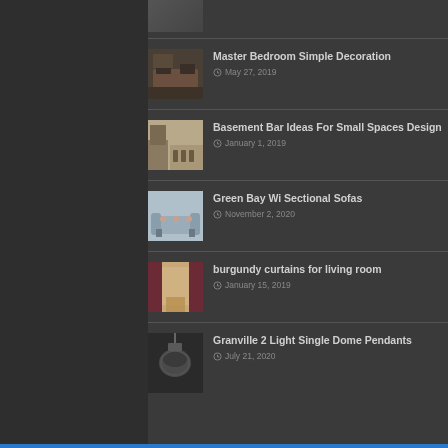Master Bedroom Simple Decoration — May 27, 2019
Basement Bar Ideas For Small Spaces Design — January 1, 2019
Green Bay Wi Sectional Sofas — November 2, 2020
burgundy curtains for living room — January 15, 2019
Granville 2 Light Single Dome Pendants — July 21, 2020